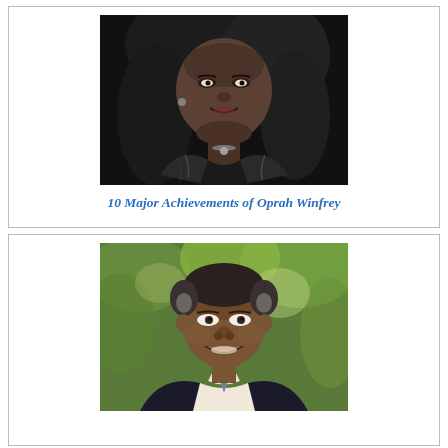[Figure (photo): Black and white portrait photo of Oprah Winfrey with dark curly hair, wearing a shiny dark top, slight smile]
10 Major Achievements of Oprah Winfrey
[Figure (photo): Color photo of Barack Obama smiling outdoors, wearing a dark suit with a blue/grey tie, green foliage in background]